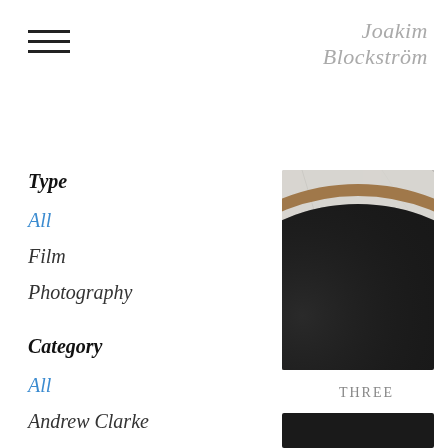Joakim Blockström
Type
All
Film
Photography
Category
All
Andrew Clarke
Baked goods
Bars
Berry Bros
Beverages
Big Mamma
[Figure (photo): Close-up of a dark ceramic plate with gold/copper rim on a marble surface, top-down view]
THREE
[Figure (photo): Dark/black image, partial view at bottom of page]